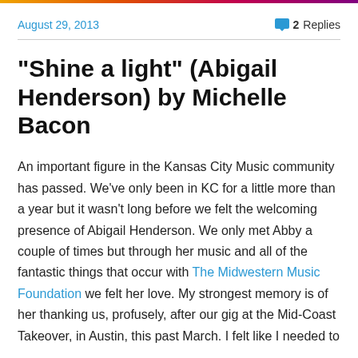August 29, 2013 | 2 Replies
“Shine a light” (Abigail Henderson) by Michelle Bacon
An important figure in the Kansas City Music community has passed. We’ve only been in KC for a little more than a year but it wasn’t long before we felt the welcoming presence of Abigail Henderson. We only met Abby a couple of times but through her music and all of the fantastic things that occur with The Midwestern Music Foundation we felt her love. My strongest memory is of her thanking us, profusely, after our gig at the Mid-Coast Takeover, in Austin, this past March. I felt like I needed to